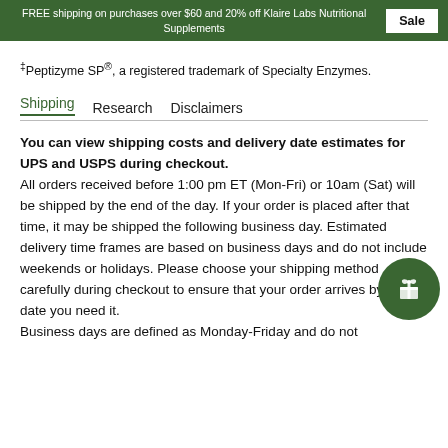FREE shipping on purchases over $60 and 20% off Klaire Labs Nutritional Supplements  Sale
‡Peptizyme SP®, a registered trademark of Specialty Enzymes.
Shipping  Research  Disclaimers
You can view shipping costs and delivery date estimates for UPS and USPS during checkout. All orders received before 1:00 pm ET (Mon-Fri) or 10am (Sat) will be shipped by the end of the day. If your order is placed after that time, it may be shipped the following business day. Estimated delivery time frames are based on business days and do not include weekends or holidays. Please choose your shipping method carefully during checkout to ensure that your order arrives by the date you need it. Business days are defined as Monday-Friday and do not include weekends or holidays, or other standard observed...